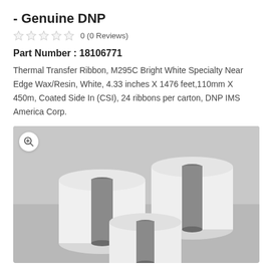- Genuine DNP
0 (0 Reviews)
Part Number : 18106771
Thermal Transfer Ribbon, M295C Bright White Specialty Near Edge Wax/Resin, White, 4.33 inches X 1476 feet,110mm X 450m, Coated Side In (CSI), 24 ribbons per carton, DNP IMS America Corp.
[Figure (photo): Three rolls of white thermal transfer ribbon stacked together on a grey background, showing the white coated side and dark inner cores.]